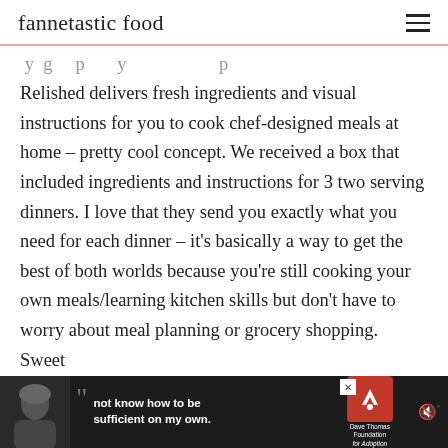fannetastic food
Relished delivers fresh ingredients and visual instructions for you to cook chef-designed meals at home – pretty cool concept. We received a box that included ingredients and instructions for 3 two serving dinners. I love that they send you exactly what you need for each dinner – it's basically a way to get the best of both worlds because you're still cooking your own meals/learning kitchen skills but don't have to worry about meal planning or grocery shopping. Sweet
[Figure (screenshot): Advertisement banner at bottom: dark background with person wearing beanie hat, quotation marks, text 'not know how to be sufficient on my own.' with Dave Thomas Foundation for Adoption logo and mute icon]